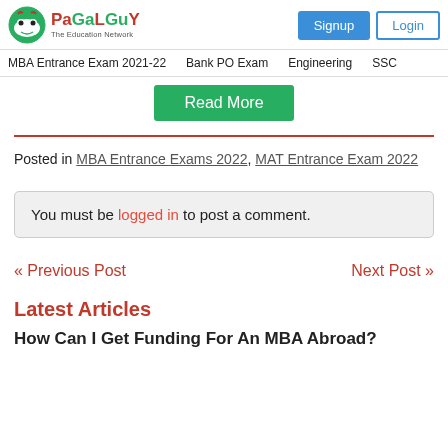PaGaLGuY - The Education Network | Signup | Login
MBA Entrance Exam 2021-22 | Bank PO Exam | Engineering | SSC
Read More
Posted in MBA Entrance Exams 2022, MAT Entrance Exam 2022
You must be logged in to post a comment.
« Previous Post
Next Post »
Latest Articles
How Can I Get Funding For An MBA Abroad?